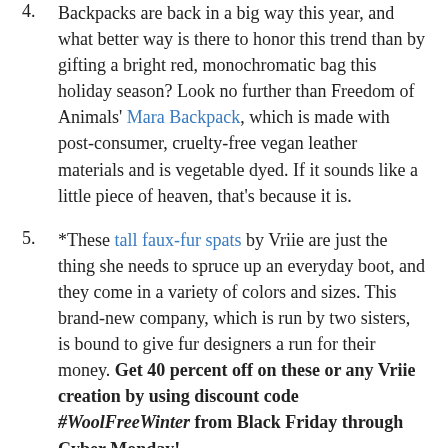4. Backpacks are back in a big way this year, and what better way is there to honor this trend than by gifting a bright red, monochromatic bag this holiday season? Look no further than Freedom of Animals' Mara Backpack, which is made with post-consumer, cruelty-free vegan leather materials and is vegetable dyed. If it sounds like a little piece of heaven, that's because it is.
5. *These tall faux-fur spats by Vriie are just the thing she needs to spruce up an everyday boot, and they come in a variety of colors and sizes. This brand-new company, which is run by two sisters, is bound to give fur designers a run for their money. Get 40 percent off on these or any Vriie creation by using discount code #WoolFreeWinter from Black Friday through Cyber Monday!
6. *With hanging mistletoe looming on the horizon, it's...